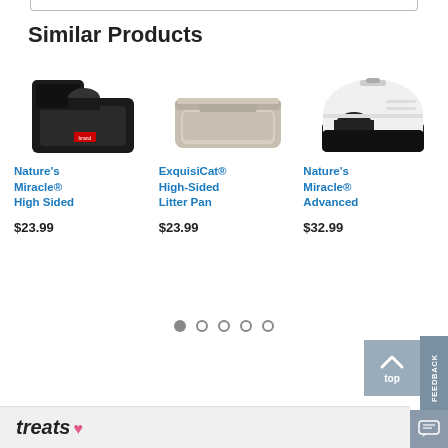Similar Products
[Figure (photo): Black high-sided cat litter box]
Nature's Miracle® High Sided
$23.99
[Figure (photo): Beige/tan high-sided cat litter pan]
ExquisiCat® High-Sided Litter Pan
$23.99
[Figure (photo): White hooded/covered cat litter box]
Nature's Miracle® Advanced
$32.99
treats
FEEDBACK
top